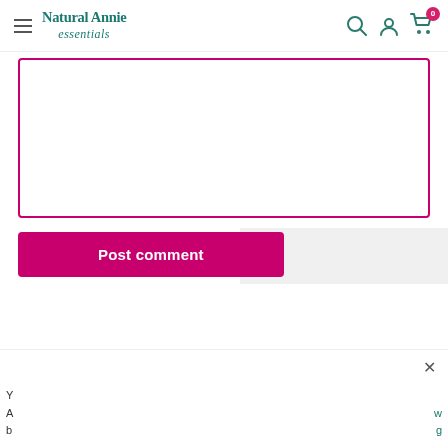[Figure (screenshot): NaturalAnnie essentials website header with hamburger menu, logo, search icon, user icon, and cart icon with badge showing 0]
[Figure (screenshot): Comment text area input box with magenta/pink border]
[Figure (screenshot): Post comment button in magenta/pink color, partially visible]
[Figure (screenshot): Teal navigation arrows on left and right sides of page]
Y A b
w g